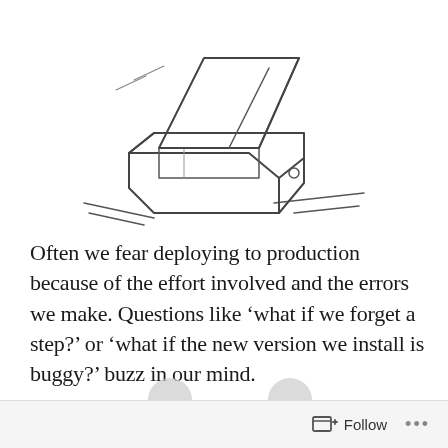[Figure (illustration): Hand-drawn sketch of an open box or drawer, shown in isometric perspective, with a lid/panel propped open at an angle and a small circular detail on the side. Diagonal lines suggest a surface or environment around the box.]
Often we fear deploying to production because of the effort involved and the errors we make. Questions like ‘what if we forget a step?’ or ‘what if the new version we install is buggy?’ buzz in our mind.
Follow ...